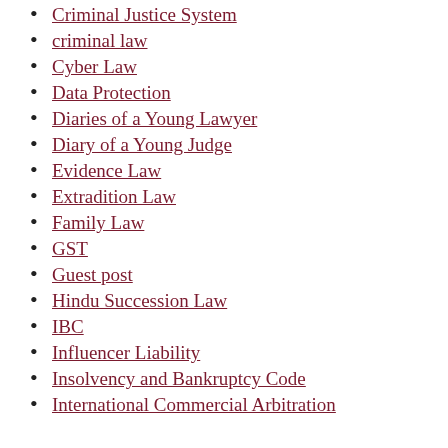Criminal Justice System
criminal law
Cyber Law
Data Protection
Diaries of a Young Lawyer
Diary of a Young Judge
Evidence Law
Extradition Law
Family Law
GST
Guest post
Hindu Succession Law
IBC
Influencer Liability
Insolvency and Bankruptcy Code
International Commercial Arbitration